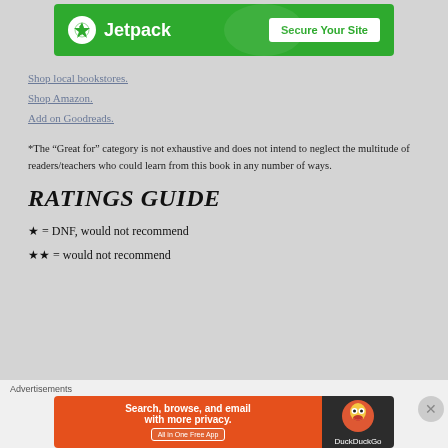[Figure (screenshot): Jetpack advertisement banner — green background with Jetpack logo and 'Secure Your Site' button]
Shop local bookstores.
Shop Amazon.
Add on Goodreads.
*The “Great for” category is not exhaustive and does not intend to neglect the multitude of readers/teachers who could learn from this book in any number of ways.
RATINGS GUIDE
★ = DNF, would not recommend
★★ = would not recommend
[Figure (screenshot): DuckDuckGo advertisement banner — orange left section with 'Search, browse, and email with more privacy. All in One Free App' and dark right section with DuckDuckGo logo]